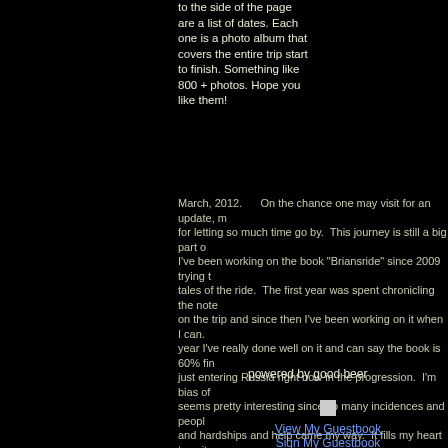to the side of the page are a list of dates. Each one is a photo album that covers the entire trip start to finish. Something like 800 + photos. Hope you like them!
March, 2012.      On the chance one may visit for an update, my apologies for letting so much time go by.  This journey is still a big part of my life. I've been working on the book "Briansride" since 2009 trying to tell the tales of the ride.  The first year was spent chronicling the notes taken on the trip and since then I've been working on it when I can.  This past year I've really done well on it and can say the book is 60% finished.  I'm just entering Russia right now in the progression.  I'm bias of course but it seems pretty interesting since so many incidences and people and kindness and hardships and help came my way.  It fills my heart to write it.  It's the story of the greatest adventure I'll ever experience and hope it inspires others who would love to do it, or at least dream it.  If you're reading, thanks for checking in.  By years end 2012 I hope to have it ready. Thanks,   Brian Tripp
powered by good beer
View My Guestbook
Sign My Guestbook